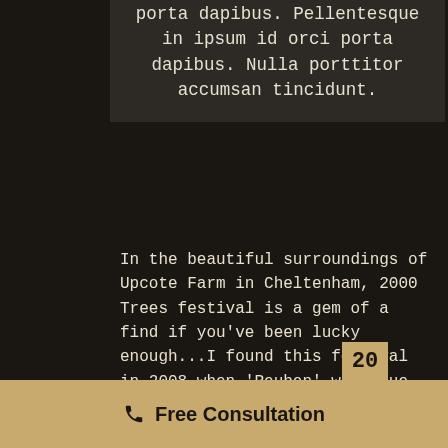porta dapibus. Pellentesque in ipsum id orci porta dapibus. Nulla porttitor accumsan tincidunt.
In the beautiful surroundings of Upcote Farm in Cheltenham, 2000 Trees festival is a gem of a find if you've been lucky enough...I found this festival in 2008 when 'Reuben' were due to headline, but even though they disbanded a few weeks prior to the festival, us fans still decided to turn up, and boy am I glad I did... Being a small sized 5000 capacity festival, but not enough to have
Free Consultation